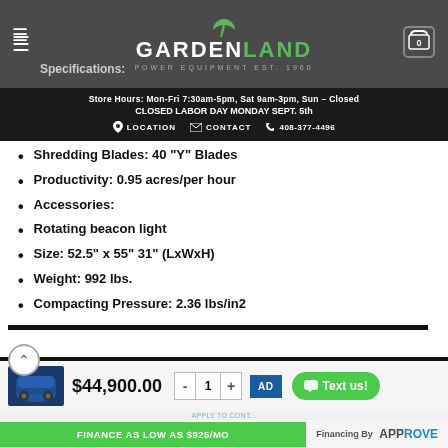GardenLand Power Equipment Est. 1960 | Store Hours: Mon-Fri 7:30am-5pm, Sat 9am-3pm, Sun – Closed | CLOSED LABOR DAY MONDAY SEPT. 5th | LOCATION | CONTACT | 408-377-4496
mowing into a fine mulch.
Specifications:
Shredding Blades: 40 "Y" Blades
Productivity: 0.95 acres/per hour
Accessories:
Rotating beacon light
Size: 52.5" x 55" 31" (LxWxH)
Weight: 992 lbs.
Compacting Pressure: 2.36 lbs/in2
$44,900.00
FINANCE AS LOW AS $925/MO
Financing By APPROVE